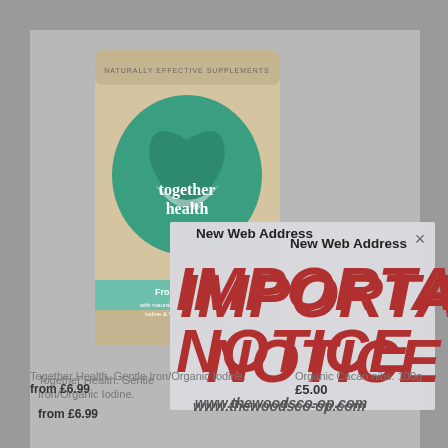[Figure (screenshot): A screenshot of a website product page showing a Together Health supplement product (Organic Iodine) in a kraft paper pouch with green heart logo, with a modal notification overlay on top]
Together Health. Gentle Iron/Organic Iodine. from £6.99
Organic Cacao nibs. 100g £5.00
New Web Address
IMPORTANT NOTICE
www.thewoodsco-op.com